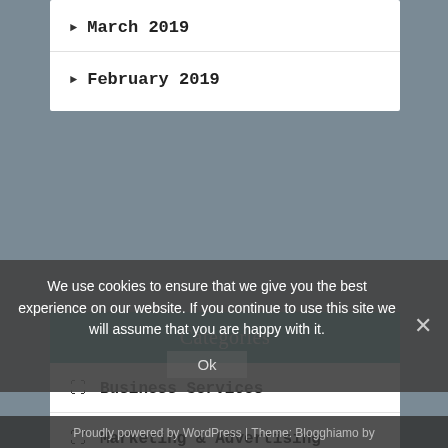March 2019
February 2019
Categories
Business Services
Marketing & Advertising
Marketing Products
We use cookies to ensure that we give you the best experience on our website. If you continue to use this site we will assume that you are happy with it.
Proudly powered by WordPress | Theme: Blogghiamo by